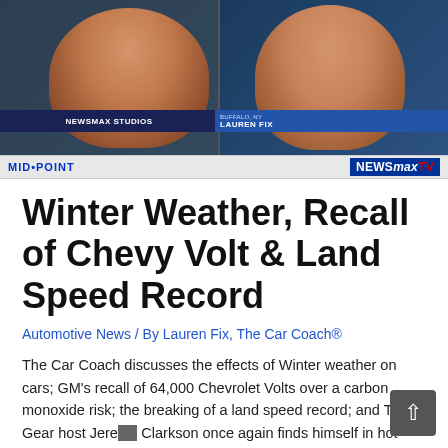[Figure (screenshot): Newsmax TV screenshot showing two news anchors side by side. Left panel labeled NEWSMAX STUDIOS, right panel labeled BUFFALO, NY / LAUREN FIX. Bottom bar shows MID•POINT and NEWSMAXTV logos.]
Winter Weather, Recall of Chevy Volt & Land Speed Record
Automotive News / By Lauren Fix, The Car Coach®
The Car Coach discusses the effects of Winter weather on cars; GM's recall of 64,000 Chevrolet Volts over a carbon monoxide risk; the breaking of a land speed record; and Top Gear host Jeremy Clarkson once again finds himself in hot water at the BBC. Watch